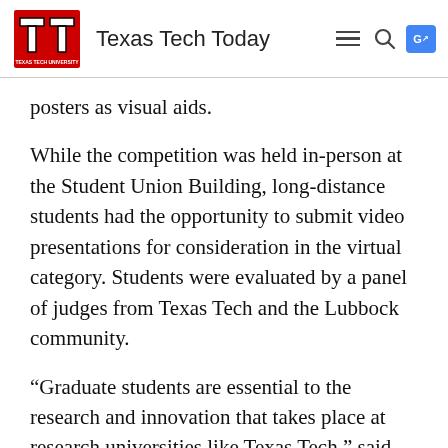Texas Tech Today
posters as visual aids.
While the competition was held in-person at the Student Union Building, long-distance students had the opportunity to submit video presentations for consideration in the virtual category. Students were evaluated by a panel of judges from Texas Tech and the Lubbock community.
“Graduate students are essential to the research and innovation that takes place at research universities like Texas Tech,” said Mark Sheridan, dean of the Graduate School. “Our poster